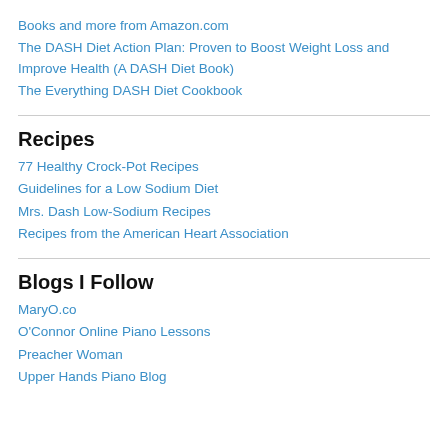Books and more from Amazon.com
The DASH Diet Action Plan: Proven to Boost Weight Loss and Improve Health (A DASH Diet Book)
The Everything DASH Diet Cookbook
Recipes
77 Healthy Crock-Pot Recipes
Guidelines for a Low Sodium Diet
Mrs. Dash Low-Sodium Recipes
Recipes from the American Heart Association
Blogs I Follow
MaryO.co
O'Connor Online Piano Lessons
Preacher Woman
Upper Hands Piano Blog